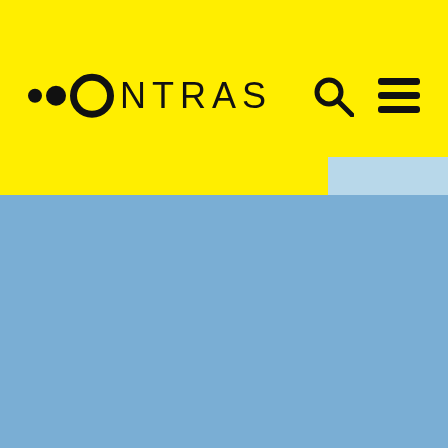[Figure (screenshot): Website header with yellow background showing the ONTRAS logo (two dots and a circle followed by ONTRAS text) on the left, and search and hamburger menu icons on the right. A light blue tab appears at the bottom right of the header. Below the header is a large blue/cornflower blue content area.]